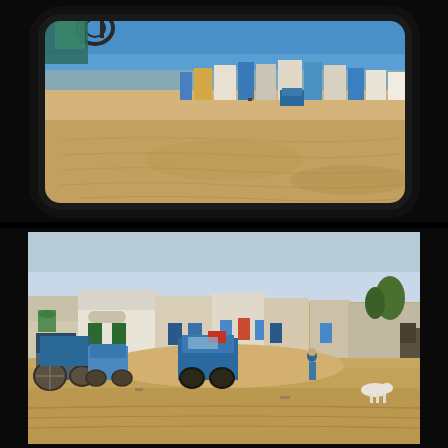[Figure (photo): A view through a vehicle's side rearview mirror showing a desert village scene. Sandy ground, colorful structures and buildings in the background, blue sky, and part of a bicycle or equipment visible at the top of the mirror reflection. The mirror frame is dark/black. The surrounding area outside the mirror is black.]
[Figure (photo): A wide-angle street-level photograph of a desert village or small town. Sandy foreground, low mud-brick and plastered buildings with colorful painted doors and trim in the background. A blue truck/vehicle is parked in the middle distance, a tractor-like vehicle on the left, a lone person wearing blue clothing walking in the sandy street, a white goat grazing on the right, and a large truck visible at far right. Clear pale sky above.]